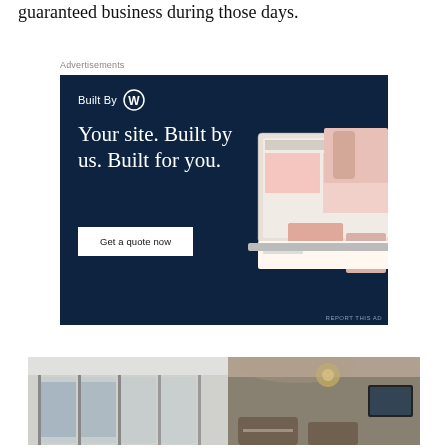guaranteed business during those days.
Advertisements
[Figure (other): WordPress 'Built By' advertisement banner with dark navy background. Shows WordPress logo, headline 'Your site. Built by us. Built for you.' and a 'Get a quote now' button, with a mockup of a website on the right side.]
[Figure (photo): Interior photo of what appears to be a restaurant or lounge space with glass partitions on the left and seating area with decorative lighting on the right.]